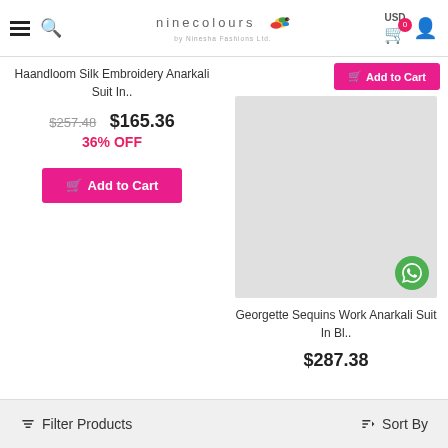ninecolours by Ninesha Fashions Ltd. — USD, Cart (0), User
Haandloom Silk Embroidery Anarkali Suit In..
$257.48  $165.36  36% OFF
Add to Cart
[Figure (other): Product image placeholder (grey box) for Georgette Sequins Work Anarkali Suit]
Add to Cart
Georgette Sequins Work Anarkali Suit In Bl..
$287.38
Filter Products   Sort By